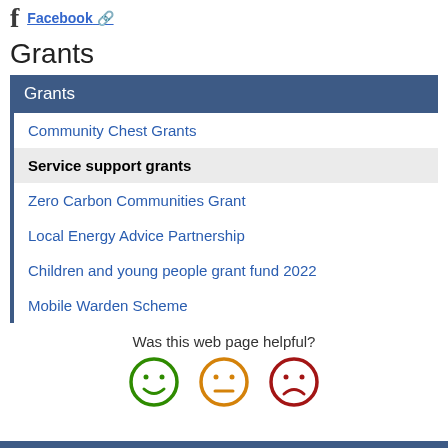f Facebook
Grants
| Grants |
| --- |
| Community Chest Grants |
| Service support grants |
| Zero Carbon Communities Grant |
| Local Energy Advice Partnership |
| Children and young people grant fund 2022 |
| Mobile Warden Scheme |
Was this web page helpful?
[Figure (infographic): Three emoji feedback icons: green smiley (happy), orange neutral face, red frowning face]